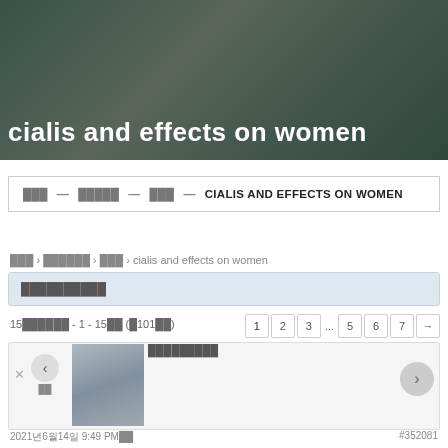[Figure (photo): Hero banner with dark overlay, plant/nature background, white bold title text reading 'cialis and effects on women']
cialis and effects on women
[Korean characters] — [Korean characters] — [Korean characters] — CIALIS AND EFFECTS ON WOMEN
[Korean] › [Korean] › [Korean] › cialis and effects on women
[Korean characters search bar placeholder]
15[Korean] - 1 - 15[Korean] ([Korean]101[Korean])
[Korean post title]
2021년6월14일 9:49 PM[Korean]
#352081